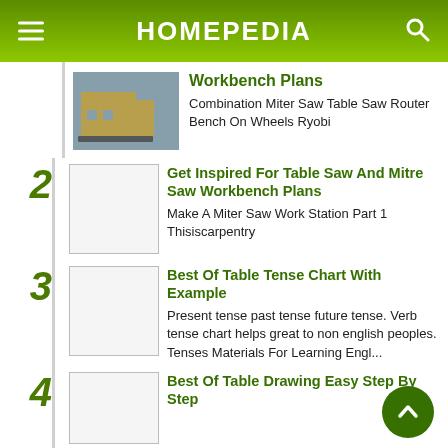HOMEPEDIA
Workbench Plans — Combination Miter Saw Table Saw Router Bench On Wheels Ryobi
2 — Get Inspired For Table Saw And Mitre Saw Workbench Plans — Make A Miter Saw Work Station Part 1 Thisiscarpentry
3 — Best Of Table Tense Chart With Example — Present tense past tense future tense. Verb tense chart helps great to non english peoples. Tenses Materials For Learning Engl...
4 — Best Of Table Drawing Easy Step By Step